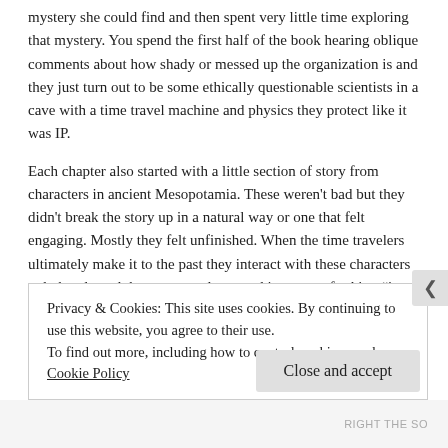mystery she could find and then spent very little time exploring that mystery. You spend the first half of the book hearing oblique comments about how shady or messed up the organization is and they just turn out to be some ethically questionable scientists in a cave with a time travel machine and physics they protect like it was IP.
Each chapter also started with a little section of story from characters in ancient Mesopotamia. These weren't bad but they didn't break the story up in a natural way or one that felt engaging. Mostly they felt unfinished. When the time travelers ultimately make it to the past they interact with these characters only barely and that was mostly treated in a way of asking "in this timeline that we created for this trip and will be destroyed after we leave is it cool to kill these past people or not?" Survey says no.
Privacy & Cookies: This site uses cookies. By continuing to use this website, you agree to their use.
To find out more, including how to control cookies, see here: Cookie Policy
Close and accept
RIGHT THE SO